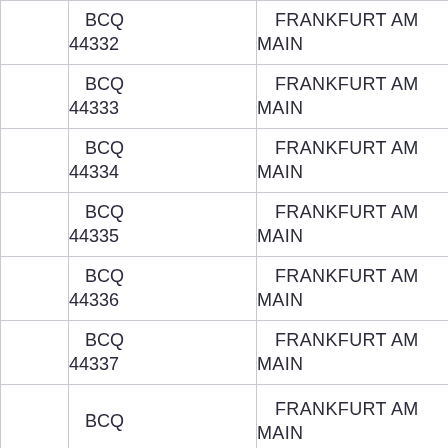|  | BCQ 44332 | FRANKFURT AM MAIN |
|  | BCQ 44333 | FRANKFURT AM MAIN |
|  | BCQ 44334 | FRANKFURT AM MAIN |
|  | BCQ 44335 | FRANKFURT AM MAIN |
|  | BCQ 44336 | FRANKFURT AM MAIN |
|  | BCQ 44337 | FRANKFURT AM MAIN |
|  | BCQ | FRANKFURT AM MAIN |